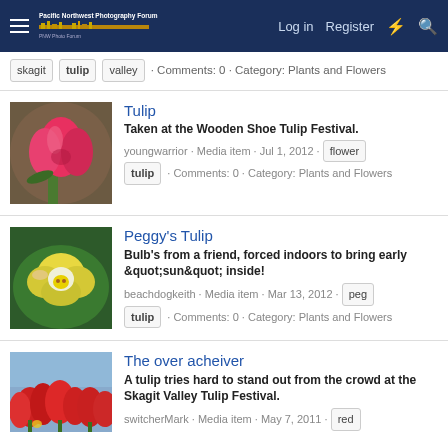Pacific Northwest Photography Forum — Log in  Register
skagit  tulip  valley · Comments: 0 · Category: Plants and Flowers
Tulip
Taken at the Wooden Shoe Tulip Festival.
youngwarrior · Media item · Jul 1, 2012 · flower  tulip · Comments: 0 · Category: Plants and Flowers
[Figure (photo): Close-up photo of a pink/red tulip flower]
Peggy's Tulip
Bulb's from a friend, forced indoors to bring early &quot;sun&quot; inside!
beachdogkeith · Media item · Mar 13, 2012 · peg  tulip · Comments: 0 · Category: Plants and Flowers
[Figure (photo): Photo of a yellow/white tulip flower]
The over acheiver
A tulip tries hard to stand out from the crowd at the Skagit Valley Tulip Festival.
switcherMark · Media item · May 7, 2011 · red
[Figure (photo): Photo of red tulips at Skagit Valley Tulip Festival]